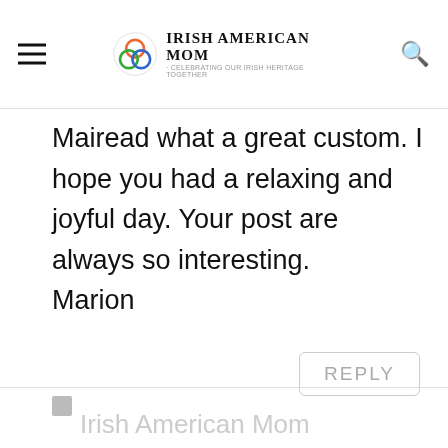Irish American Mom - Celebrating Our Irish Heritage Together
Mairead what a great custom. I hope you had a relaxing and joyful day. Your post are always so interesting.
Marion
REPLY
Irish American Mom